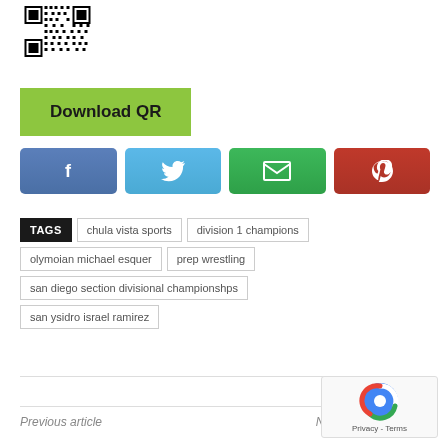[Figure (other): QR code image in top left corner]
Download QR
[Figure (other): Social sharing buttons: Facebook (blue), Twitter (light blue), Email (green), Pinterest (red)]
TAGS chula vista sports division 1 champions olymoian michael esquer prep wrestling san diego section divisional championshps san ysidro israel ramirez
Previous article
Ne…
[Figure (other): reCAPTCHA widget with Privacy - Terms text]